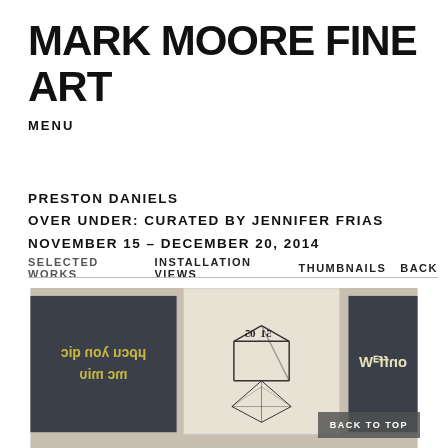MARK MOORE FINE ART
MENU
PRESTON DANIELS
OVER UNDER: CURATED BY JENNIFER FRIAS
NOVEMBER 15 – DECEMBER 20, 2014
SELECTED WORKS   INSTALLATION VIEWS   THUMBNAILS   BACK
[Figure (photo): Installation view of Preston Daniels exhibition showing framed artworks with mirrored/reversed text on dark backgrounds, mounted on gallery walls.]
BACK TO TOP